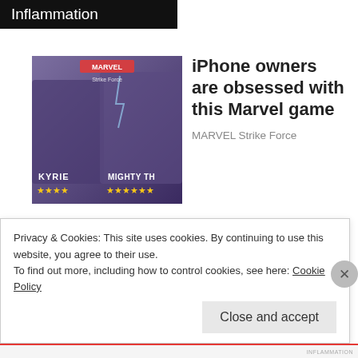Inflammation
[Figure (photo): Marvel Strike Force game promotional image showing characters KYRIE and MIGHTY TH with star ratings]
iPhone owners are obsessed with this Marvel game
MARVEL Strike Force
[Figure (photo): Person reaching for products on a pharmacy/store shelf]
Sizing Up Your Psoriasis Medicine Cabinet
HealthCentral
Privacy & Cookies: This site uses cookies. By continuing to use this website, you agree to their use.
To find out more, including how to control cookies, see here: Cookie Policy
Close and accept